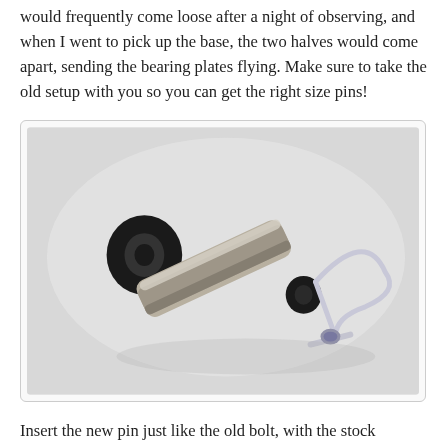would frequently come loose after a night of observing, and when I went to pick up the base, the two halves would come apart, sending the bearing plates flying. Make sure to take the old setup with you so you can get the right size pins!
[Figure (photo): A metal hitch pin with black rubber washers on each end and a wire clip/retaining clip attached, photographed on a light gray background.]
Insert the new pin just like the old bolt, with the stock